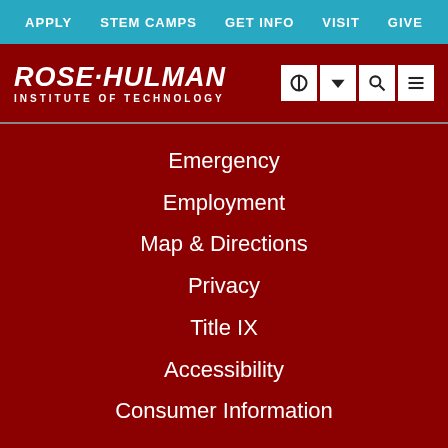APPLY  STEM CAMPS  GET INFO  VISIT  GIVE
[Figure (logo): Rose-Hulman Institute of Technology logo with navigation icons]
Emergency
Employment
Map & Directions
Privacy
Title IX
Accessibility
Consumer Information